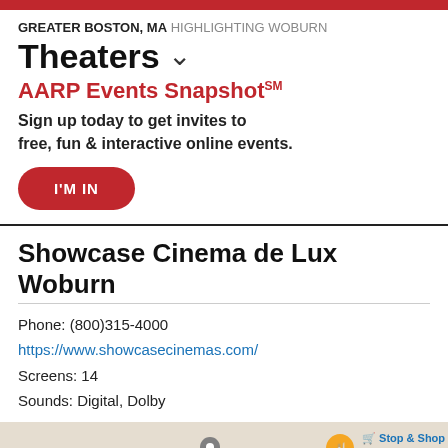GREATER BOSTON, MA HIGHLIGHTING WOBURN
Theaters
AARP Events Snapshot SM
Sign up today to get invites to free, fun & interactive online events.
I'M IN
Showcase Cinema de Lux Woburn
Phone: (800)315-4000
https://www.showcasecinemas.com/
Screens: 14
Sounds: Digital, Dolby
[Figure (map): Partial street map showing nearby businesses including Stop & Shop, with map pins and road markings visible at the bottom of the page.]